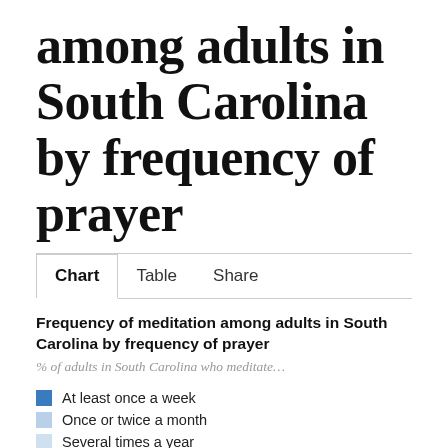among adults in South Carolina by frequency of prayer
Frequency of meditation among adults in South Carolina by frequency of prayer
% of adults in South Carolina who meditate…
At least once a week
Once or twice a month
Several times a year